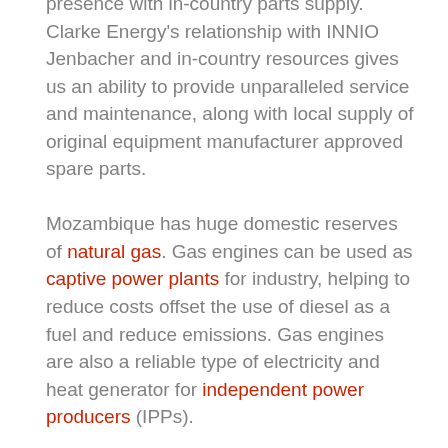presence with in-country parts supply. Clarke Energy's relationship with INNIO Jenbacher and in-country resources gives us an ability to provide unparalleled service and maintenance, along with local supply of original equipment manufacturer approved spare parts.

Mozambique has huge domestic reserves of natural gas. Gas engines can be used as captive power plants for industry, helping to reduce costs offset the use of diesel as a fuel and reduce emissions. Gas engines are also a reliable type of electricity and heat generator for independent power producers (IPPs).